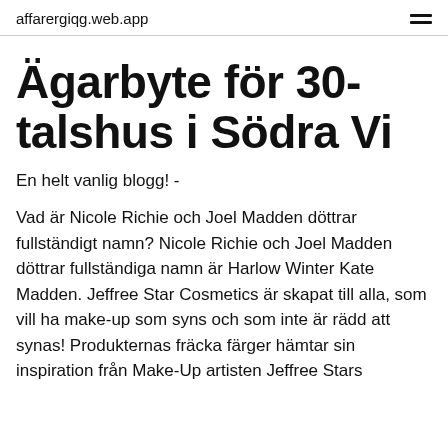affarergiqg.web.app
Ägarbyte för 30-talshus i Södra Vi
En helt vanlig blogg! -
Vad är Nicole Richie och Joel Madden döttrar fullständigt namn? Nicole Richie och Joel Madden döttrar fullständiga namn är Harlow Winter Kate Madden. Jeffree Star Cosmetics är skapat till alla, som vill ha make-up som syns och som inte är rädd att synas! Produkternas fräcka färger hämtar sin inspiration från Make-Up artisten Jeffree Stars